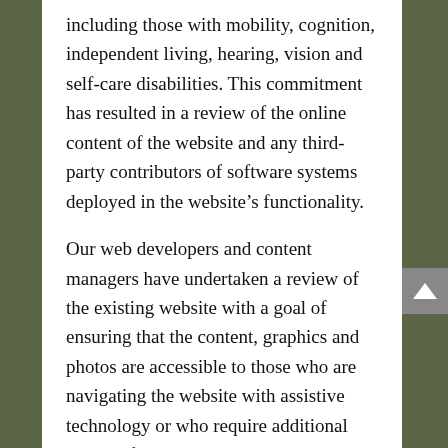including those with mobility, cognition, independent living, hearing, vision and self-care disabilities. This commitment has resulted in a review of the online content of the website and any third-party contributors of software systems deployed in the website's functionality.
Our web developers and content managers have undertaken a review of the existing website with a goal of ensuring that the content, graphics and photos are accessible to those who are navigating the website with assistive technology or who require additional website features to access content. Further, steps have been taken to ensure that the website design is an intuitively driven navigation that does not place impediments for those navigating with special technology.